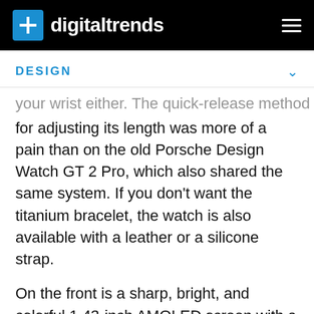digitaltrends
DESIGN
your wrist either. The quick-release method for adjusting its length was more of a pain than on the old Porsche Design Watch GT 2 Pro, which also shared the same system. If you don't want the titanium bracelet, the watch is also available with a leather or a silicone strap.
On the front is a sharp, bright, and colorful 1.43-inch AMOLED screen with a 466 x